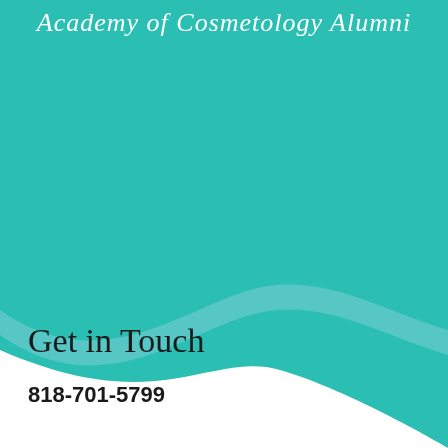Academy of Cosmetology Alumni
[Figure (illustration): Teal/turquoise wave shape filling the top portion of the page with a white background below. The wave sweeps from upper-left down to lower-right with a smooth S-curve transition.]
Get in Touch
818-701-5799